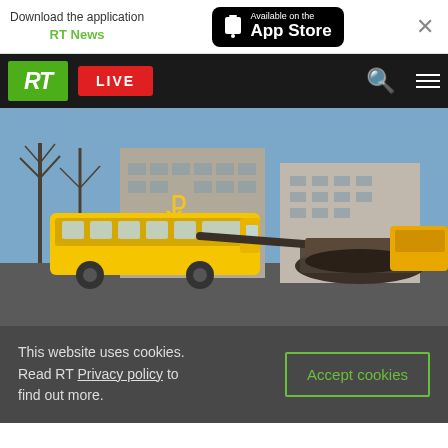Download the application RT News — Available on the App Store
[Figure (screenshot): RT website navigation bar with green RT logo, red LIVE button, search and menu icons]
[Figure (photo): A yellow bus passing a destroyed/burned tank in a Ukrainian city street with apartment buildings showing the Ukrainian trident emblem in the background]
This website uses cookies. Read RT Privacy policy to find out more.
Accept cookies